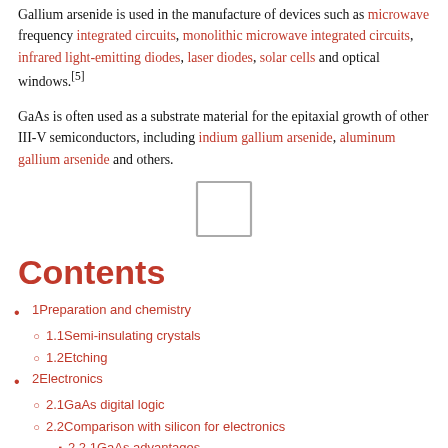Gallium arsenide is used in the manufacture of devices such as microwave frequency integrated circuits, monolithic microwave integrated circuits, infrared light-emitting diodes, laser diodes, solar cells and optical windows.[5]
GaAs is often used as a substrate material for the epitaxial growth of other III-V semiconductors, including indium gallium arsenide, aluminum gallium arsenide and others.
[Figure (other): Small square outline placeholder image]
Contents
1Preparation and chemistry
1.1Semi-insulating crystals
1.2Etching
2Electronics
2.1GaAs digital logic
2.2Comparison with silicon for electronics
2.2.1GaAs advantages
2.2.2Silicon advantages